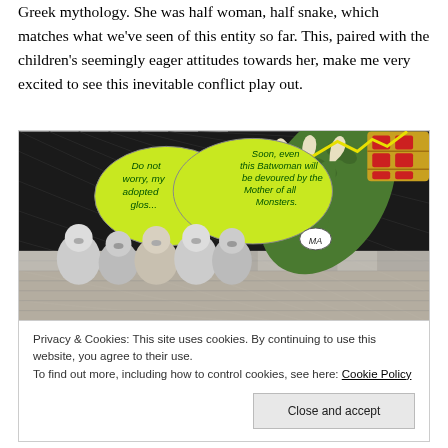Greek mythology. She was half woman, half snake, which matches what we've seen of this entity so far. This, paired with the children's seemingly eager attitudes towards her, make me very excited to see this inevitable conflict play out.
[Figure (illustration): Comic book panel showing a green scaled clawed hand reaching down toward a group of children looking upward. Two yellow speech bubbles read: 'Do not worry, my adopted glos...' and 'Soon, even this Batwoman will be devoured by the Mother of all Monsters.' A small speech bubble says 'MA'. A jeweled golden object is visible at top right.]
Privacy & Cookies: This site uses cookies. By continuing to use this website, you agree to their use.
To find out more, including how to control cookies, see here: Cookie Policy